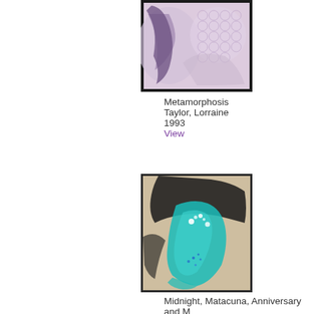[Figure (photo): Abstract artwork showing pink/lavender tones with circular grid patterns and flowing dark shapes, framed in black — titled Metamorphosis by Lorraine Taylor, 1993]
Metamorphosis
Taylor, Lorraine
1993
View
[Figure (photo): Abstract artwork with teal/turquoise brushstrokes against dark background with white spotted accents, framed — titled Midnight, Matacuna, Anniversary and M by David Michie, 2006]
Midnight, Matacuna, Anniversary and M
Michie, David
2006
View